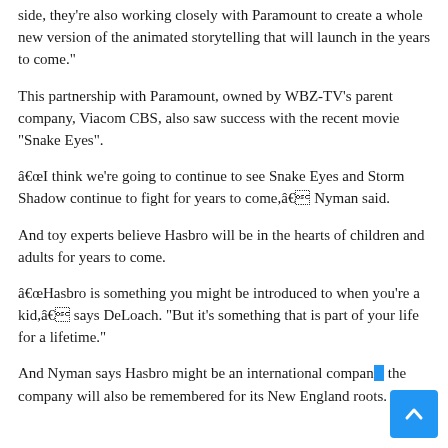...will also launch in the 2021, â€¦ said Nyman. "On the animated side, they're also working closely with Paramount to create a whole new version of the animated storytelling that will launch in the years to come."
This partnership with Paramount, owned by WBZ-TV's parent company, Viacom CBS, also saw success with the recent movie "Snake Eyes".
â€œI think we're going to continue to see Snake Eyes and Storm Shadow continue to fight for years to come,â€ Nyman said.
And toy experts believe Hasbro will be in the hearts of children and adults for years to come.
â€œHasbro is something you might be introduced to when you're a kid,â€ says DeLoach. "But it's something that is part of your life for a lifetime."
And Nyman says Hasbro might be an international company, the company will also be remembered for its New England roots.